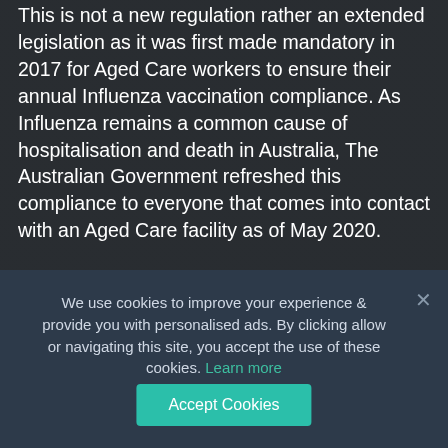This is not a new regulation rather an extended legislation as it was first made mandatory in 2017 for Aged Care workers to ensure their annual Influenza vaccination compliance. As Influenza remains a common cause of hospitalisation and death in Australia, The Australian Government refreshed this compliance to everyone that comes into contact with an Aged Care facility as of May 2020.
We use cookies to improve your experience & provide you with personalised ads. By clicking allow or navigating this site, you accept the use of these cookies. Learn more